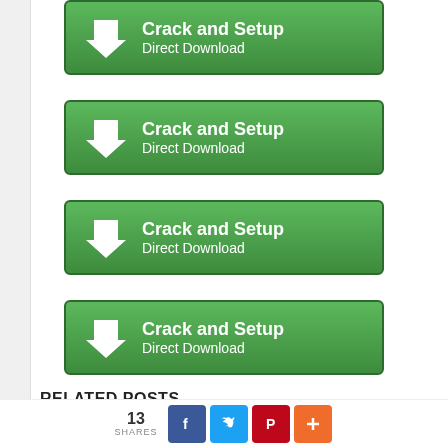[Figure (other): Green download button 1 with arrow icon, text 'Crack and Setup' and 'Direct Download']
[Figure (other): Green download button 2 with arrow icon, text 'Crack and Setup' and 'Direct Download']
[Figure (other): Green download button 3 with arrow icon, text 'Crack and Setup' and 'Direct Download']
[Figure (other): Green download button 4 with arrow icon, text 'Crack and Setup' and 'Direct Download']
RELATED POSTS
COOLMUSTER ANDROID ASSISTANT 4.3.16 FULL (CRACK)
13 SHARES